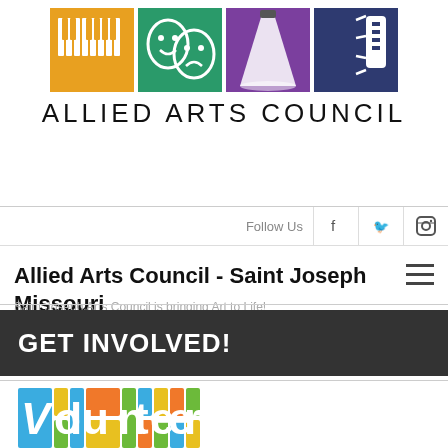[Figure (logo): Allied Arts Council logo with four colored squares (orange with piano keys, green with theater masks, purple with spotlight, dark blue with microphone) and text 'ALLIED ARTS COUNCIL']
Follow Us
Allied Arts Council - Saint Joseph Missouri
Saint Joseph Arts Council is bringing Art to Life!
GET INVOLVED!
[Figure (logo): VOLUNTEER colorful mosaic text logo with blue, green, yellow, and orange squares]